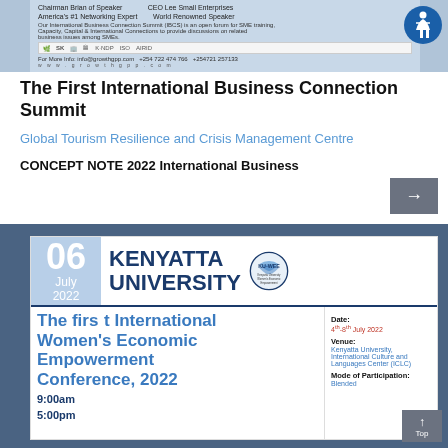[Figure (screenshot): International Business Connection Summit promotional banner with logos and contact info]
The First International Business Connection Summit
Global Tourism Resilience and Crisis Management Centre
CONCEPT NOTE 2022 International Business
[Figure (screenshot): Kenyatta University event card showing The first International Women's Economic Empowerment Conference, 2022. Date: 4th-8th July 2022. Venue: Kenyatta University, International Culture and Languages Center (ICLC). Mode of Participation: Blended. Time: 9:00am - 5:00pm. KU-WEE logo shown.]